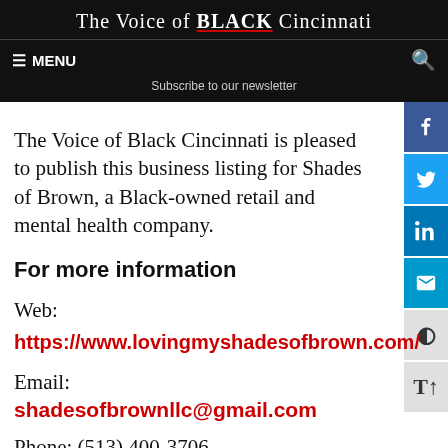The Voice of Black Cincinnati
The Voice of Black Cincinnati is pleased to publish this business listing for Shades of Brown, a Black-owned retail and mental health company.
For more information
Web:
https://www.lovingmyshadesofbrown.com/
Email: shadesofbrownllc@gmail.com
Phone: (513) 400-3706